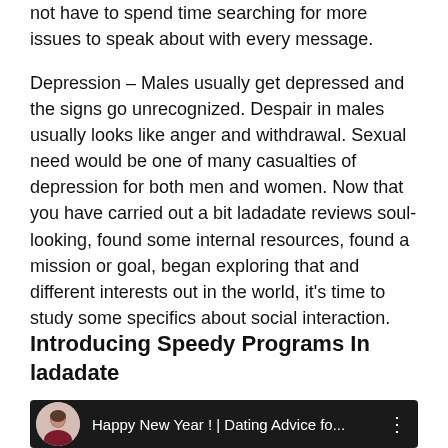not have to spend time searching for more issues to speak about with every message.
Depression – Males usually get depressed and the signs go unrecognized. Despair in males usually looks like anger and withdrawal. Sexual need would be one of many casualties of depression for both men and women. Now that you have carried out a bit ladadate reviews soul-looking, found some internal resources, found a mission or goal, began exploring that and different interests out in the world, it's time to study some specifics about social interaction.
Introducing Speedy Programs In ladadate
[Figure (screenshot): Video thumbnail with dark background showing a man in a suit and text 'Happy New Year ! | Dating Advice fo...' with a three-dot menu icon]